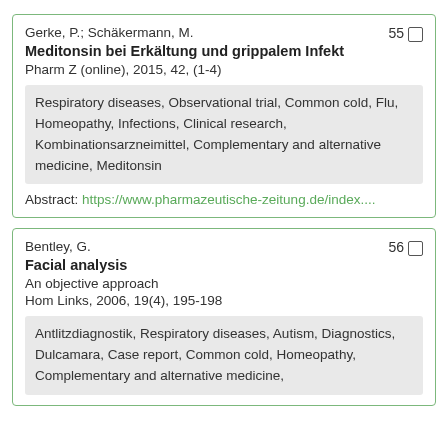Gerke, P.; Schäkermann, M.
Meditonsin bei Erkältung und grippalem Infekt
Pharm Z (online), 2015, 42, (1-4)
Respiratory diseases, Observational trial, Common cold, Flu, Homeopathy, Infections, Clinical research, Kombinationsarzneimittel, Complementary and alternative medicine, Meditonsin
Abstract: https://www.pharmazeutische-zeitung.de/index....
Bentley, G.
Facial analysis
An objective approach
Hom Links, 2006, 19(4), 195-198
Antlitzdiagnostik, Respiratory diseases, Autism, Diagnostics, Dulcamara, Case report, Common cold, Homeopathy, Complementary and alternative medicine,